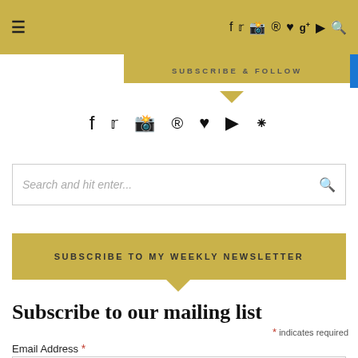≡  f  ♥  ✉  ®  ♥  g+  ▶  🔍
SUBSCRIBE & FOLLOW
[Figure (infographic): Social media icon row: f (Facebook), Twitter bird, Instagram camera, Pinterest, heart (Bloglovin), YouTube play button, RSS feed]
Search and hit enter...
SUBSCRIBE TO MY WEEKLY NEWSLETTER
Subscribe to our mailing list
* indicates required
Email Address *